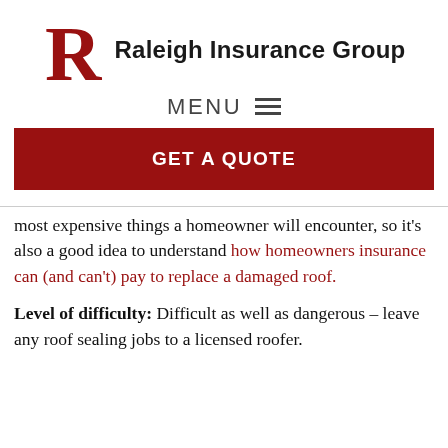[Figure (logo): Raleigh Insurance Group logo with a large red R and company name in bold black text]
MENU ☰
GET A QUOTE
most expensive things a homeowner will encounter, so it's also a good idea to understand how homeowners insurance can (and can't) pay to replace a damaged roof.
Level of difficulty: Difficult as well as dangerous – leave any roof sealing jobs to a licensed roofer.